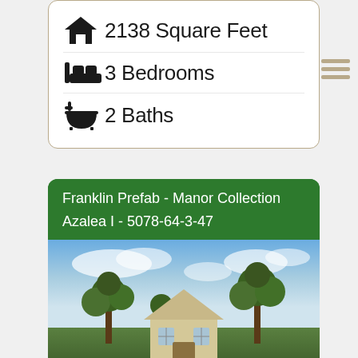2138 Square Feet
3 Bedrooms
2 Baths
Franklin Prefab - Manor Collection
Azalea I - 5078-64-3-47
[Figure (photo): Exterior photo of a prefab home with beige siding and triangular roof peak, surrounded by tall pine trees under a partly cloudy blue sky]